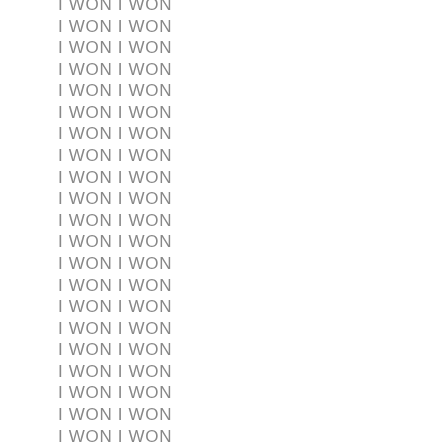I WON I WON
I WON I WON
I WON I WON
I WON I WON
I WON I WON
I WON I WON
I WON I WON
I WON I WON
I WON I WON
I WON I WON
I WON I WON
I WON I WON
I WON I WON
I WON I WON
I WON I WON
I WON I WON
I WON I WON
I WON I WON
I WON I WON
I WON I WON
I WON I WON
I WON I WON
I WON I WON